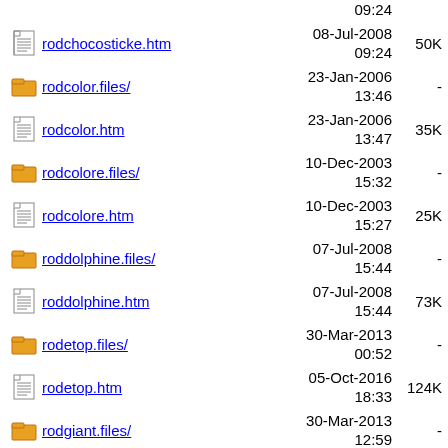rodchocosticke.htm  08-Jul-2008 09:24  50K
rodcolor.files/  23-Jan-2006 13:46  -
rodcolor.htm  23-Jan-2006 13:47  35K
rodcolore.files/  10-Dec-2003 15:32  -
rodcolore.htm  10-Dec-2003 15:27  25K
roddolphine.files/  07-Jul-2008 15:44  -
roddolphine.htm  07-Jul-2008 15:44  73K
rodetop.files/  30-Mar-2013 00:52  -
rodetop.htm  05-Oct-2016 18:33  124K
rodgiant.files/  30-Mar-2013 12:59  -
rodgiant.htm  30-Mar-2013 19:05  132K